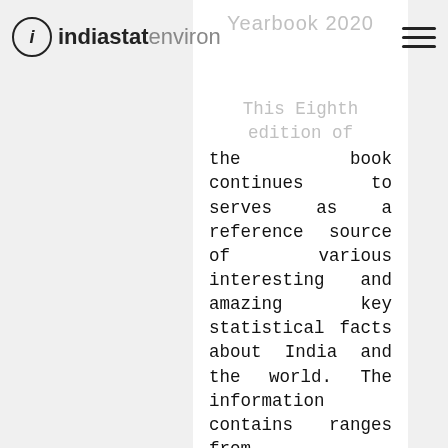indiastat environ
This Eighth edition of the book continues to serves as a reference source of various interesting and amazing key statistical facts about India and the world. The information contains ranges from demographics, agriculture, economy, industry, infrastructure, sports, crime, travel and tourism, health and education to markets. All the interesting pieces of information have been presented in order of 10. The comparative facts of India and the world